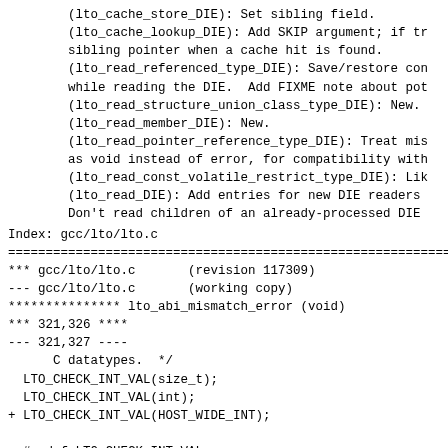(lto_cache_store_DIE): Set sibling field.
(lto_cache_lookup_DIE): Add SKIP argument; if tr
sibling pointer when a cache hit is found.
(lto_read_referenced_type_DIE): Save/restore con
while reading the DIE.  Add FIXME note about pot
(lto_read_structure_union_class_type_DIE): New.
(lto_read_member_DIE): New.
(lto_read_pointer_reference_type_DIE): Treat mis
as void instead of error, for compatibility with
(lto_read_const_volatile_restrict_type_DIE): Lik
(lto_read_DIE): Add entries for new DIE readers 
Don't read children of an already-processed DIE
Index: gcc/lto/lto.c
================================================================
*** gcc/lto/lto.c       (revision 117309)
--- gcc/lto/lto.c       (working copy)
*************** lto_abi_mismatch_error (void)
*** 321,326 ****
--- 321,327 ----
      C datatypes.  */
  LTO_CHECK_INT_VAL(size_t);
  LTO_CHECK_INT_VAL(int);
+ LTO_CHECK_INT_VAL(HOST_WIDE_INT);

  #undef LTO_CHECK_INT_VAL

*************** lto_read_form (lto_info_fd *info_fd,
*** 701,708 ****
      DW_cl_constant, /* ordering */